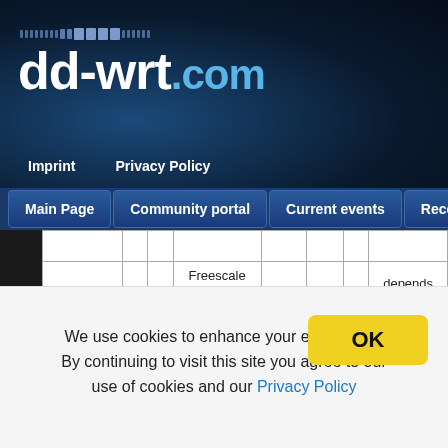[Figure (screenshot): dd-wrt.com website logo header with dot pattern graphic on dark blue gradient background]
Imprint   Privacy Policy
Main Page   Community portal   Current events   Recent changes
| RB-800 | - | - | Freescale MPC8544 @800 | 256 | 64 | - | depends on card |
| RB-1000 | - | - | Freescale MPC8548 @1333 | 512 | 64 | - | - |
We use cookies to enhance your experience. By continuing to visit this site you agree to our use of cookies and our Privacy Policy